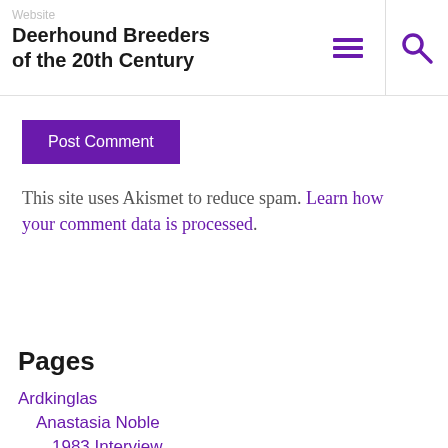Website
Deerhound Breeders of the 20th Century
[Figure (other): Hamburger menu icon (three horizontal lines) in purple]
[Figure (other): Search icon (magnifying glass) in purple]
Post Comment
This site uses Akismet to reduce spam. Learn how your comment data is processed.
Pages
Ardkinglas
Anastasia Noble
1983 Interview